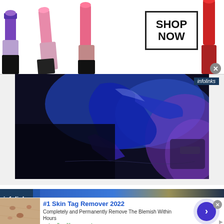[Figure (photo): MAC cosmetics advertisement banner with lipsticks on left (purple, pink, coral), MAC logo in center, SHOP NOW box with border on right, red lipstick on far right, X close button]
[Figure (photo): Close-up photo of a gas pump nozzle under blue and purple lighting on dark background, with infolinks badge in top-right corner]
[Figure (photo): Infolinks advertisement banner at bottom with blue bokeh and yellow background sections]
[Figure (infographic): Skin tag advertisement: skin photo on left, '#1 Skin Tag Remover 2022' title in blue, description text, naturalhealthcures.net URL in green, circular arrow button on right, X close button and ad icon]